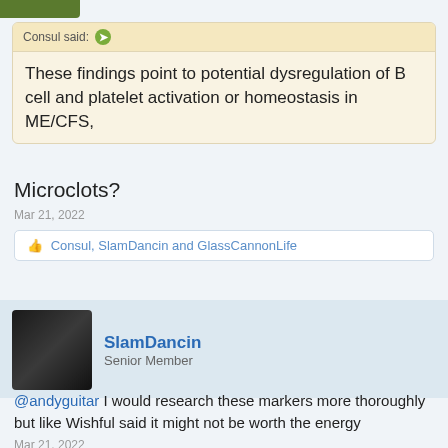Consul said:
These findings point to potential dysregulation of B cell and platelet activation or homeostasis in ME/CFS,
Microclots?
Mar 21, 2022
Consul, SlamDancin and GlassCannonLife
SlamDancin
Senior Member
@andyguitar I would research these markers more thoroughly but like Wishful said it might not be worth the energy
Mar 21, 2022
andyguitar